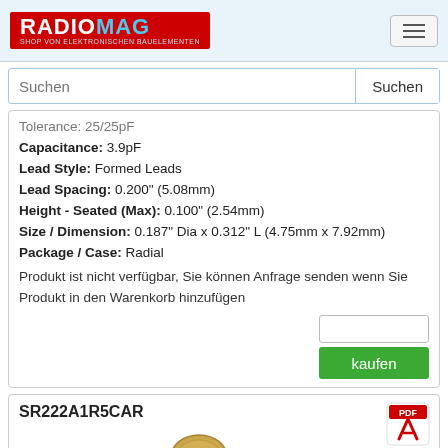RADIOMAG — SHOP VON ELEKTRONISCHEN BAUELEMENTEN
Tolerance: 25/25pF
Capacitance: 3.9pF
Lead Style: Formed Leads
Lead Spacing: 0.200" (5.08mm)
Height - Seated (Max): 0.100" (2.54mm)
Size / Dimension: 0.187" Dia x 0.312" L (4.75mm x 7.92mm)
Package / Case: Radial
Produkt ist nicht verfügbar, Sie können Anfrage senden wenn Sie Produkt in den Warenkorb hinzufügen
SR222A1R5CAR
[Figure (photo): Ceramic capacitor component photo — small beige/tan disc capacitor with two bent metal leads against white background]